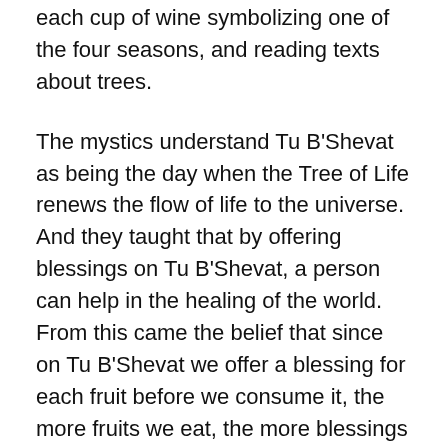each cup of wine symbolizing one of the four seasons, and reading texts about trees.
The mystics understand Tu B'Shevat as being the day when the Tree of Life renews the flow of life to the universe.  And they taught that by offering blessings on Tu B'Shevat, a person can help in the healing of the world.  From this came the belief that since on Tu B'Shevat we offer a blessing for each fruit before we consume it, the more fruits we eat, the more blessings we can offer to help heal the world.
In more modern times Tu b'Shevat has been a gift to the Zionist movement and the return to the Land. They have used it as an opportunity to plant trees in Israel as a way of transforming  the land, as well as re-attaching ourselves to the physical Land of Israel. And most recently the